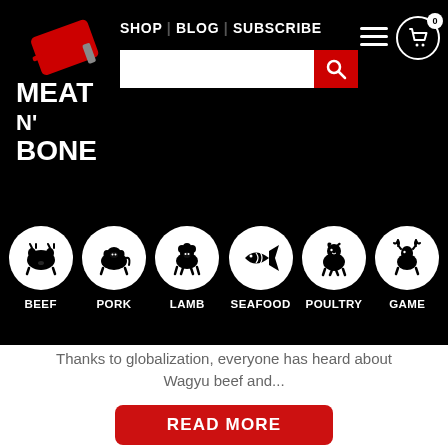[Figure (logo): Meat N' Bone logo with red cleaver icon on black background, white bold text]
SHOP | BLOG | SUBSCRIBE
[Figure (infographic): Category navigation icons on black background: BEEF (cow), PORK (pig), LAMB (sheep), SEAFOOD (fish), POULTRY (chicken), GAME (deer)]
Thanks to globalization, everyone has heard about Wagyu beef and...
[Figure (other): Red rounded rectangle READ MORE button]
[Figure (photo): Partial photo of raw meat in a dark pan, blurred background]